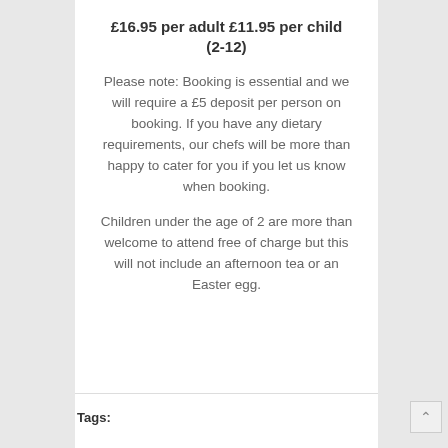£16.95 per adult £11.95 per child (2-12)
Please note: Booking is essential and we will require a £5 deposit per person on booking. If you have any dietary requirements, our chefs will be more than happy to cater for you if you let us know when booking.
Children under the age of 2 are more than welcome to attend free of charge but this will not include an afternoon tea or an Easter egg.
Tags: